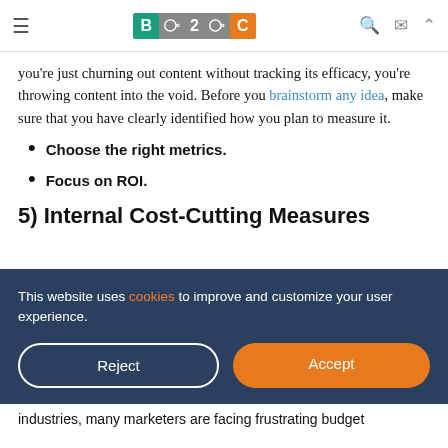B2C
you're just churning out content without tracking its efficacy, you're throwing content into the void. Before you brainstorm any idea, make sure that you have clearly identified how you plan to measure it.
Choose the right metrics.
Focus on ROI.
5) Internal Cost-Cutting Measures
This website uses cookies to improve and customize your user experience.
Reject | Accept
industries, many marketers are facing frustrating budget